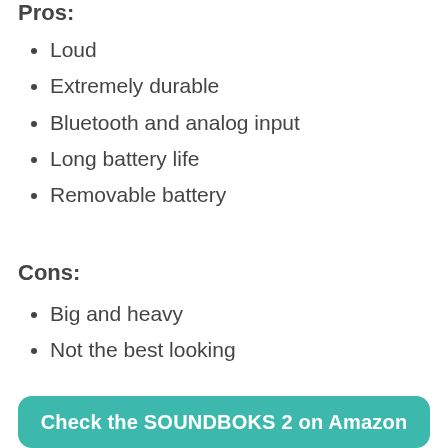Pros:
Loud
Extremely durable
Bluetooth and analog input
Long battery life
Removable battery
Cons:
Big and heavy
Not the best looking
Check the SOUNDBOKS 2 on Amazon